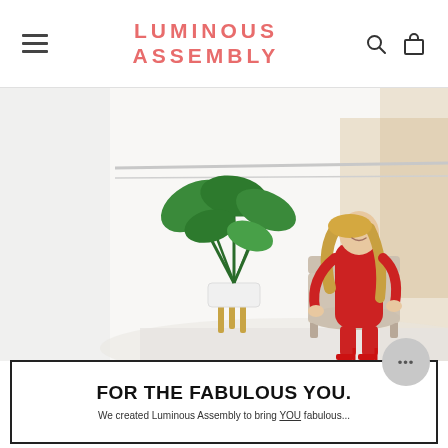LUMINOUS ASSEMBLY
[Figure (photo): Woman in red jumpsuit and red heels sitting in a chair in a bright modern interior space with a large tropical plant next to her]
FOR THE FABULOUS YOU.
We created Luminous Assembly to bring YOU fabulou...